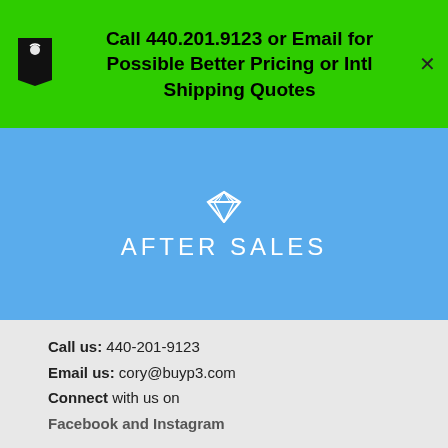Call 440.201.9123 or Email for Possible Better Pricing or Intl Shipping Quotes
AFTER SALES
Call us: 440-201-9123
Email us: cory@buyp3.com
Connect with us on
Facebook and Instagram